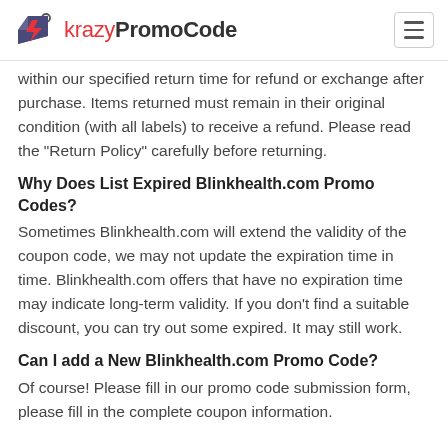krazyPromoCode
within our specified return time for refund or exchange after purchase. Items returned must remain in their original condition (with all labels) to receive a refund. Please read the "Return Policy" carefully before returning.
Why Does List Expired Blinkhealth.com Promo Codes?
Sometimes Blinkhealth.com will extend the validity of the coupon code, we may not update the expiration time in time. Blinkhealth.com offers that have no expiration time may indicate long-term validity. If you don't find a suitable discount, you can try out some expired. It may still work.
Can I add a New Blinkhealth.com Promo Code?
Of course! Please fill in our promo code submission form, please fill in the complete coupon information.